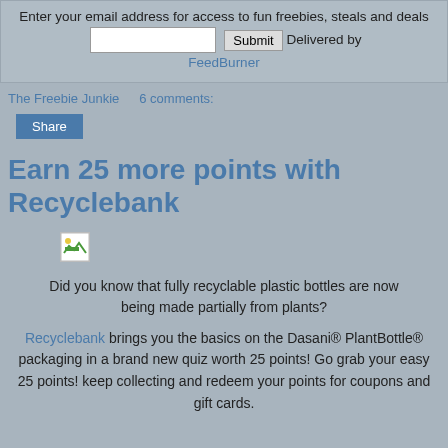Enter your email address for access to fun freebies, steals and deals   [input]  Submit  Delivered by FeedBurner
The Freebie Junkie    6 comments:
Share
Earn 25 more points with Recyclebank
[Figure (photo): Broken/missing image placeholder with small green graphic element]
Did you know that fully recyclable plastic bottles are now being made partially from plants?
Recyclebank brings you the basics on the Dasani® PlantBottle® packaging in a brand new quiz worth 25 points! Go grab your easy 25 points! keep collecting and redeem your points for coupons and gift cards.